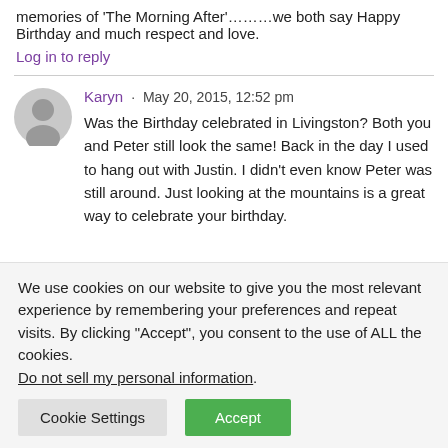memories of 'The Morning After'………we both say Happy Birthday and much respect and love.
Log in to reply
Karyn · May 20, 2015, 12:52 pm
Was the Birthday celebrated in Livingston? Both you and Peter still look the same! Back in the day I used to hang out with Justin. I didn't even know Peter was still around. Just looking at the mountains is a great way to celebrate your birthday.
We use cookies on our website to give you the most relevant experience by remembering your preferences and repeat visits. By clicking "Accept", you consent to the use of ALL the cookies.
Do not sell my personal information.